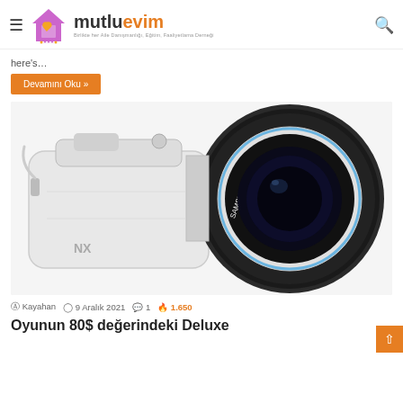mutluevim — Birlikte her Aile Danışmanlığı, Eğitim, Faaliyetlama Derneği
here's…
Devamını Oku »
[Figure (photo): White Samsung NX mirrorless camera with a large telephoto zoom lens, placed on a white background.]
Kayahan  9 Aralık 2021  1  1.650
Oyunun 80$ değerindeki Deluxe